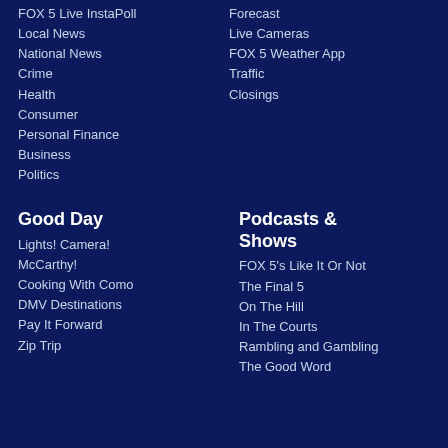FOX 5 Live InstaPoll
Local News
National News
Crime
Health
Consumer
Personal Finance
Business
Politics
Forecast
Live Cameras
FOX 5 Weather App
Traffic
Closings
Good Day
Lights! Camera! McCarthy!
Cooking With Como
DMV Destinations
Pay It Forward
Zip Trip
Podcasts & Shows
FOX 5's Like It Or Not
The Final 5
On The Hill
In The Courts
Rambling and Gambling
The Good Word